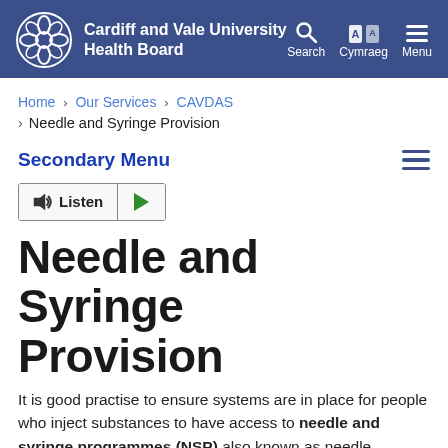Cardiff and Vale University Health Board
Home › Our Services › CAVDAS › Needle and Syringe Provision
Secondary Menu
Needle and Syringe Provision
It is good practise to ensure systems are in place for people who inject substances to have access to needle and syringe programmes (NSP) also known as needle exchanges these services should be nearby, have suitable